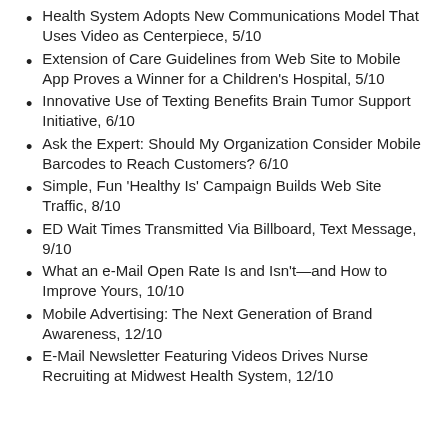Health System Adopts New Communications Model That Uses Video as Centerpiece, 5/10
Extension of Care Guidelines from Web Site to Mobile App Proves a Winner for a Children's Hospital, 5/10
Innovative Use of Texting Benefits Brain Tumor Support Initiative, 6/10
Ask the Expert: Should My Organization Consider Mobile Barcodes to Reach Customers? 6/10
Simple, Fun 'Healthy Is' Campaign Builds Web Site Traffic, 8/10
ED Wait Times Transmitted Via Billboard, Text Message, 9/10
What an e-Mail Open Rate Is and Isn't—and How to Improve Yours, 10/10
Mobile Advertising: The Next Generation of Brand Awareness, 12/10
E-Mail Newsletter Featuring Videos Drives Nurse Recruiting at Midwest Health System, 12/10